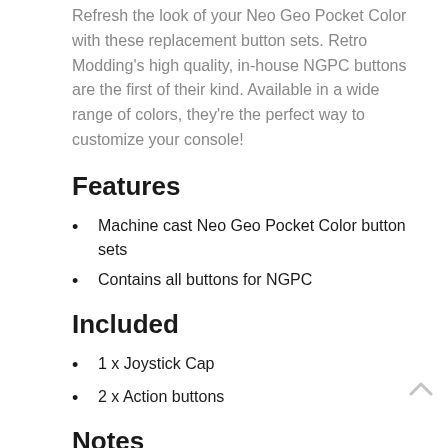Refresh the look of your Neo Geo Pocket Color with these replacement button sets. Retro Modding's high quality, in-house NGPC buttons are the first of their kind. Available in a wide range of colors, they're the perfect way to customize your console!
Features
Machine cast Neo Geo Pocket Color button sets
Contains all buttons for NGPC
Included
1 x Joystick Cap
2 x Action buttons
Notes
Console not included.